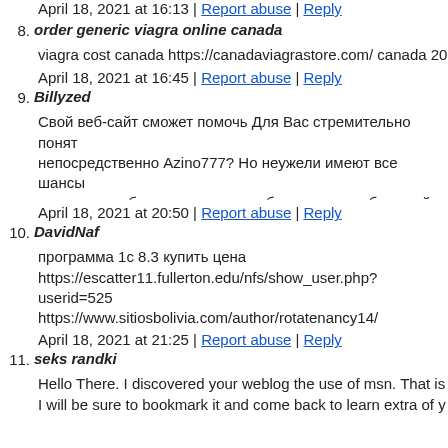April 18, 2021 at 16:13 | Report abuse | Reply
8. order generic viagra online canada
viagra cost canada https://canadaviagrastore.com/ canada 20 v
April 18, 2021 at 16:45 | Report abuse | Reply
9. Billyzed
Свой веб-сайт сможет помочь Для Вас стремительно понят непосредственно Azino777? Но неужели имеют все шансы интернет клубов: порядочность, безопасность, большой ст [url=https://777.com.ru]Играть 777[/url]
April 18, 2021 at 20:50 | Report abuse | Reply
10. DavidNaf
программа 1с 8.3 купить цена https://escatter11.fullerton.edu/nfs/show_user.php?userid=525 https://www.sitiosbolivia.com/author/rotatenancy14/ https://www.putfree.com/user/profile/215903
April 18, 2021 at 21:25 | Report abuse | Reply
11. seks randki
Hello There. I discovered your weblog the use of msn. That is I will be sure to bookmark it and come back to learn extra of y